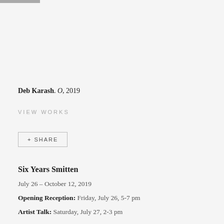Deb Karash. O, 2019
VIEW WORKS
+ SHARE
Six Years Smitten
July 26 – October 12, 2019
Opening Reception: Friday, July 26, 5-7 pm
Artist Talk: Saturday, July 27, 2-3 pm